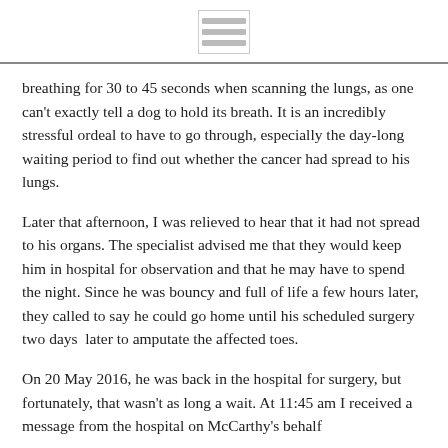[Menu icon]
breathing for 30 to 45 seconds when scanning the lungs, as one can't exactly tell a dog to hold its breath. It is an incredibly stressful ordeal to have to go through, especially the day-long waiting period to find out whether the cancer had spread to his lungs.
Later that afternoon, I was relieved to hear that it had not spread to his organs. The specialist advised me that they would keep him in hospital for observation and that he may have to spend the night. Since he was bouncy and full of life a few hours later, they called to say he could go home until his scheduled surgery two days  later to amputate the affected toes.
On 20 May 2016, he was back in the hospital for surgery, but fortunately, that wasn't as long a wait. At 11:45 am I received a message from the hospital on McCarthy's behalf